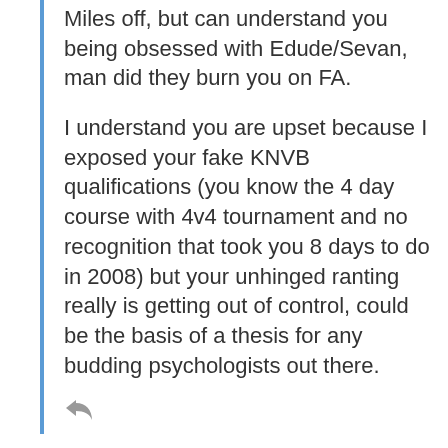Miles off, but can understand you being obsessed with Edude/Sevan, man did they burn you on FA.
I understand you are upset because I exposed your fake KNVB qualifications (you know the 4 day course with 4v4 tournament and no recognition that took you 8 days to do in 2008) but your unhinged ranting really is getting out of control, could be the basis of a thesis for any budding psychologists out there.
By using our site you accept that we use and share cookies and similar technologies to perform analytics and provide content and ads tailored to your interests. By continuing to use our site, you consent to this. Please see our Cookie Policy for more information.
poraneous coaching
I'm not, hence others harassing them and destabilising FTBL Forum